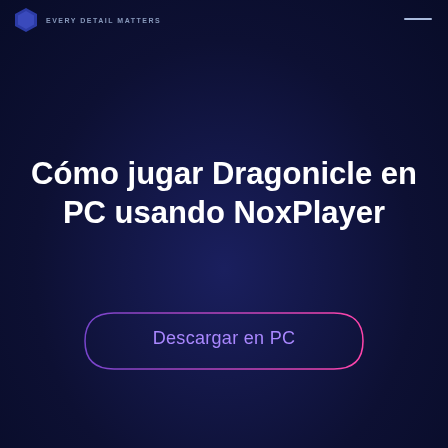EVERY DETAIL MATTERS
Cómo jugar Dragonicle en PC usando NoxPlayer
Descargar en PC